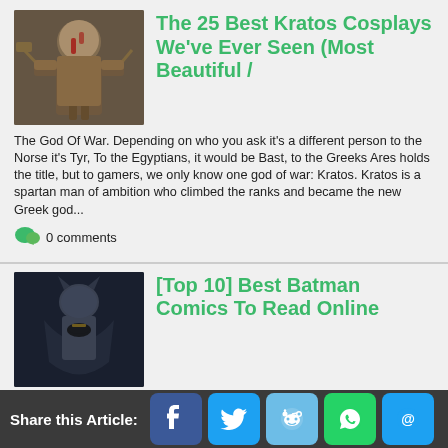[Figure (photo): Kratos from God of War holding weapons]
The 25 Best Kratos Cosplays We've Ever Seen (Most Beautiful /
The God Of War. Depending on who you ask it's a different person to the Norse it's Tyr, To the Egyptians, it would be Bast, to the Greeks Ares holds the title, but to gamers, we only know one god of war: Kratos. Kratos is a spartan man of ambition who climbed the ranks and became the new Greek god...
0 comments
[Figure (photo): Batman comic art showing Batman in dark armor]
[Top 10] Best Batman Comics To Read Online
Batman comics are amazing! Fans around the world enjoy reading about the caped crusader. What's amazing is that all of the digital media adaptation is based off of Batman comics so you can get a sneak peak of The Dark Knight's story if you read comics. Let's check out the best Batman comics you can...
0 comments
Share this Article: